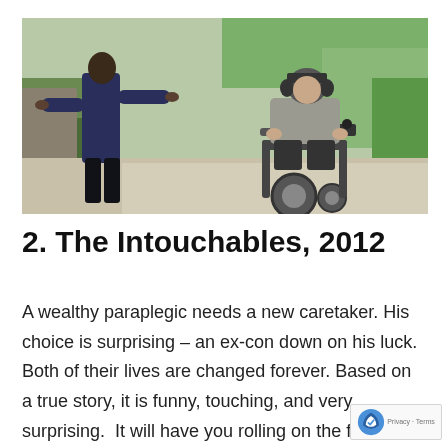[Figure (photo): Outdoor scene showing two people: a person in a dark blue hoodie and black pants with arms outstretched, and a man in a gray jacket sitting in a motorized wheelchair, on a paved path with greenery in the background.]
2. The Intouchables, 2012
A wealthy paraplegic needs a new caretaker. His choice is surprising – an ex-con down on his luck. Both of their lives are changed forever. Based on a true story, it is funny, touching, and very surprising.  It will have you rolling on the floor laughing one minute and reaching...